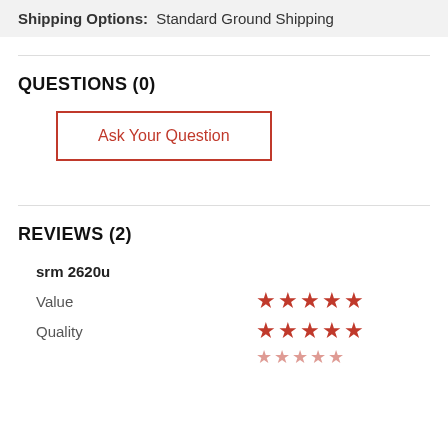Shipping Options: Standard Ground Shipping
QUESTIONS (0)
Ask Your Question
REVIEWS (2)
srm 2620u
Value — 5 stars
Quality — 5 stars